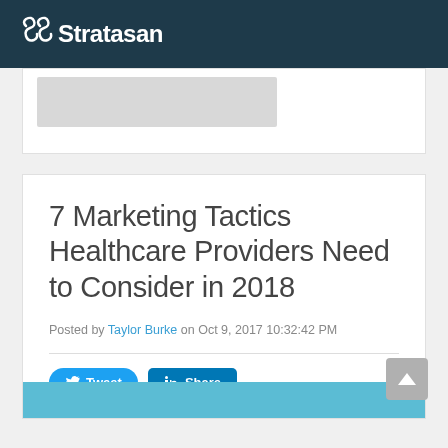Stratasans
[Figure (screenshot): Partial view of a card or image thumbnail with grey placeholder]
7 Marketing Tactics Healthcare Providers Need to Consider in 2018
Posted by Taylor Burke on Oct 9, 2017 10:32:42 PM
[Figure (infographic): Tweet and LinkedIn Share social media buttons]
[Figure (screenshot): Partial blue image at bottom of the article card]